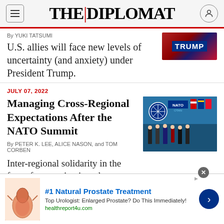THE DIPLOMAT
By YUKI TATSUMI
U.S. allies will face new levels of uncertainty (and anxiety) under President Trump.
JULY 07, 2022
Managing Cross-Regional Expectations After the NATO Summit
By PETER K. LEE, ALICE NASON, and TOM CORBEN
Inter-regional solidarity in the face of aggression is welcome. But there are hard limits to hard commitments outside of a country's home region.
[Figure (photo): NATO Summit group photo with officials standing in front of NATO and country flags]
[Figure (photo): Trump banner/advertisement image with US flag elements]
#1 Natural Prostate Treatment
Top Urologist: Enlarged Prostate? Do This Immediately!
healthreport4u.com